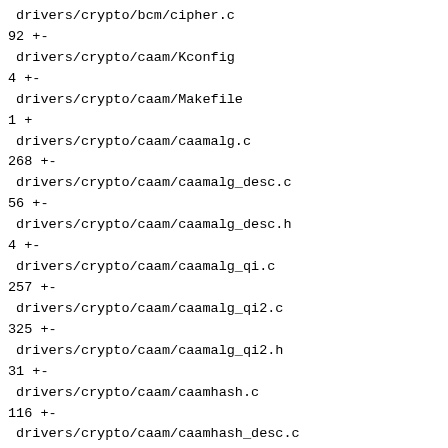drivers/crypto/bcm/cipher.c                                               |
92 +-
 drivers/crypto/caam/Kconfig                                                |
4 +-
 drivers/crypto/caam/Makefile                                               |
1 +
 drivers/crypto/caam/caamalg.c                                              |
268 +-
 drivers/crypto/caam/caamalg_desc.c                                         |
56 +-
 drivers/crypto/caam/caamalg_desc.h                                         |
4 +-
 drivers/crypto/caam/caamalg_qi.c                                           |
257 +-
 drivers/crypto/caam/caamalg_qi2.c                                          |
325 +-
 drivers/crypto/caam/caamalg_qi2.h                                          |
31 +-
 drivers/crypto/caam/caamhash.c                                             |
116 +-
 drivers/crypto/caam/caamhash_desc.c                                        |
5 +-
 drivers/crypto/caam/caamhash_desc.h                                        |
2 +-
 drivers/crypto/caam/caampkc.c                                              |
99 +-
 drivers/crypto/caam/caamrng.c                                              |
19 +-
 drivers/crypto/caam/compat.h                                               |
2 +-